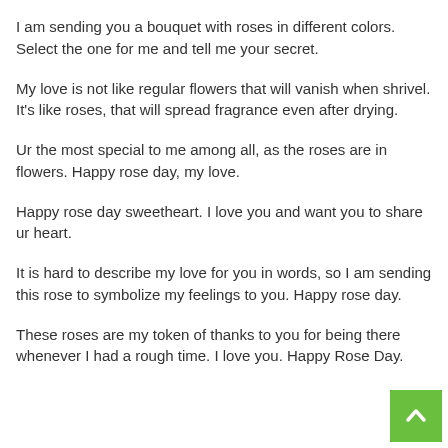I am sending you a bouquet with roses in different colors. Select the one for me and tell me your secret.
My love is not like regular flowers that will vanish when shrivel. It's like roses, that will spread fragrance even after drying.
Ur the most special to me among all, as the roses are in flowers. Happy rose day, my love.
Happy rose day sweetheart. I love you and want you to share ur heart.
It is hard to describe my love for you in words, so I am sending this rose to symbolize my feelings to you. Happy rose day.
These roses are my token of thanks to you for being there whenever I had a rough time. I love you. Happy Rose Day.